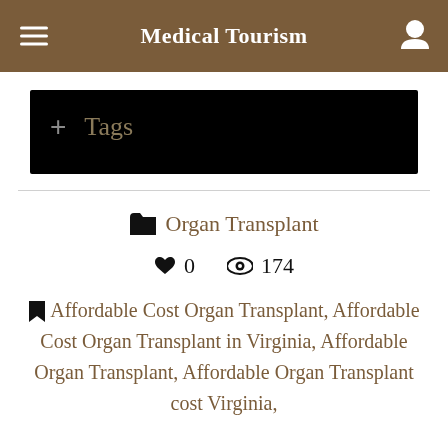Medical Tourism
[Figure (screenshot): Black tags input box with '+  Tags' placeholder text]
Organ Transplant
♥ 0   👁 174
Affordable Cost Organ Transplant, Affordable Cost Organ Transplant in Virginia, Affordable Organ Transplant, Affordable Organ Transplant cost Virginia,